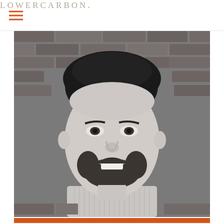LOWERCARBON.
[Figure (photo): Black and white portrait photo of a smiling young man with curly hair and a beard, wearing a striped collared shirt, standing in front of a brick wall background.]